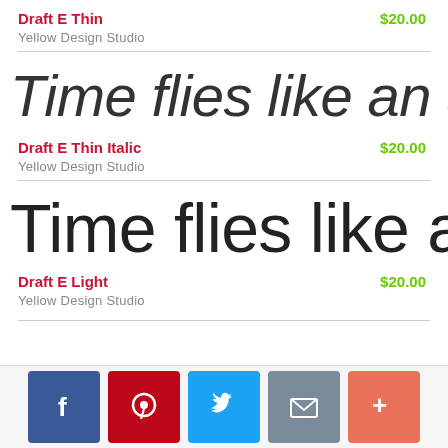Draft E Thin
$20.00
Yellow Design Studio
[Figure (other): Font preview: 'Time flies like an arrow' in Draft E Thin Italic style, large italic thin weight sans-serif]
Draft E Thin Italic
$20.00
Yellow Design Studio
[Figure (other): Font preview: 'Time flies like an arrow' in Draft E Light style, large normal weight light sans-serif]
Draft E Light
$20.00
Yellow Design Studio
[Figure (infographic): Social sharing buttons: Facebook, Pinterest, Twitter, Email, More]